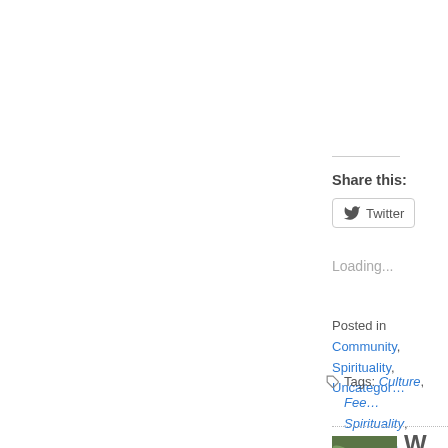Share this:
Twitter
Loading...
Posted in Community, Spirituality, Uncategor…
Tags: Culture, Fee… Spirituality, Violenc…
[Figure (photo): Thumbnail photo of green ferns/foliage]
W